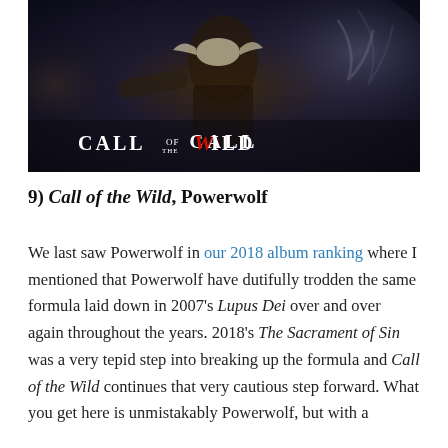[Figure (illustration): Album cover art for 'Call of the Wild' by Powerwolf, featuring a dark fantasy battle scene with a warrior figure and large bird against a smoky background, with the album title 'CALL OF THE WILD' displayed prominently in white text at the bottom center.]
9) Call of the Wild, Powerwolf
We last saw Powerwolf in our 2018 album ranking where I mentioned that Powerwolf have dutifully trodden the same formula laid down in 2007's Lupus Dei over and over again throughout the years. 2018's The Sacrament of Sin was a very tepid step into breaking up the formula and Call of the Wild continues that very cautious step forward. What you get here is unmistakably Powerwolf, but with a